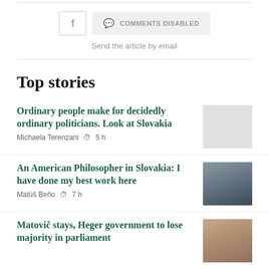Send the article by email
Top stories
Ordinary people make for decidedly ordinary politicians. Look at Slovakia
Michaela Terenzani  5 h
An American Philosopher in Slovakia: I have done my best work here
Matúš Beňo  7 h
Matovič stays, Heger government to lose majority in parliament